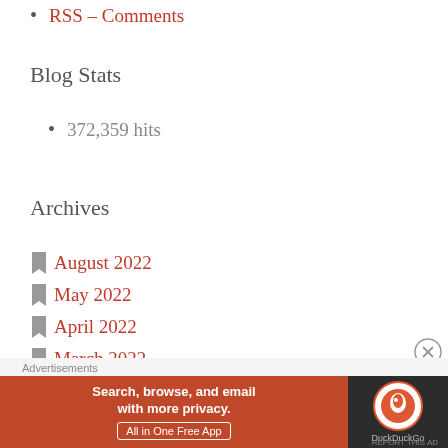RSS - Comments
Blog Stats
372,359 hits
Archives
August 2022
May 2022
April 2022
March 2022
January 2022
December 2021
Advertisements
[Figure (screenshot): DuckDuckGo advertisement banner: 'Search, browse, and email with more privacy. All in One Free App' with DuckDuckGo logo on dark background]